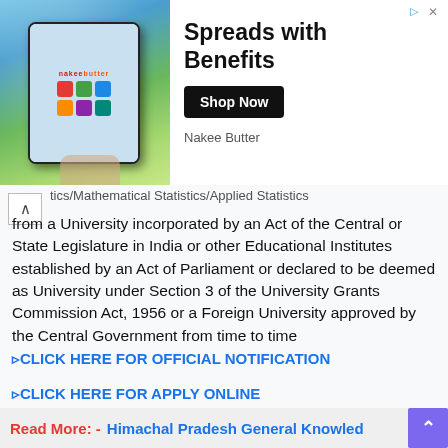[Figure (photo): Advertisement banner: Nakee Butter 'Spreads with Benefits' ad with phone image and Shop Now button]
tics/Mathematical Statistics/Applied Statistics from a University incorporated by an Act of the Central or State Legislature in India or other Educational Institutes established by an Act of Parliament or declared to be deemed as University under Section 3 of the University Grants Commission Act, 1956 or a Foreign University approved by the Central Government from time to time
►CLICK HERE FOR OFFICIAL NOTIFICATION
►CLICK HERE FOR APPLY ONLINE
Read More: -   Himachal Pradesh General Knowledge